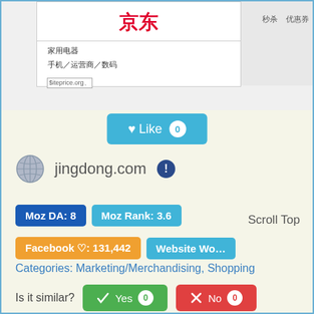[Figure (screenshot): Screenshot of jingdong.com (京东) website showing the logo in red Chinese characters, navigation menu items 家用电器, 手机/运营商/数码, and right side showing 秒杀 优惠券. Siteprice.org watermark visible.]
♥ Like 0
jingdong.com ℹ
Moz DA: 8   Moz Rank: 3.6
Scroll Top
Facebook ♡: 131,442   Website Worth...
Categories: Marketing/Merchandising, Shopping
Is it similar?   Yes 0   No 0